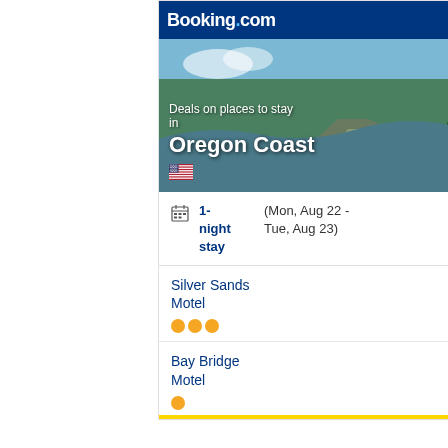[Figure (screenshot): Booking.com mobile app card showing deals on places to stay in Oregon Coast. Header bar with Booking.com logo and orange deal badge. Hero image of Oregon Coast with trees and landscape. Date row showing 1-night stay Mon Aug 22 - Tue Aug 23. Two hotel listings: Silver Sands Motel $79 (3 stars) and Bay Bridge Motel $81 (1 star). Blue See all deals button at bottom.]